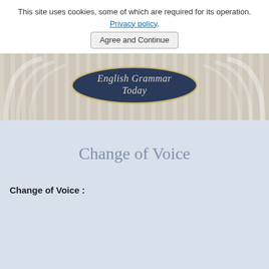This site uses cookies, some of which are required for its operation. Privacy policy.
Agree and Continue
[Figure (illustration): English Grammar Today website banner with decorative art-nouveau style background, striped pattern, side arc decorations, and a dark navy badge/plaque in the center with italic text 'English Grammar Today']
Change of Voice
Change of Voice :